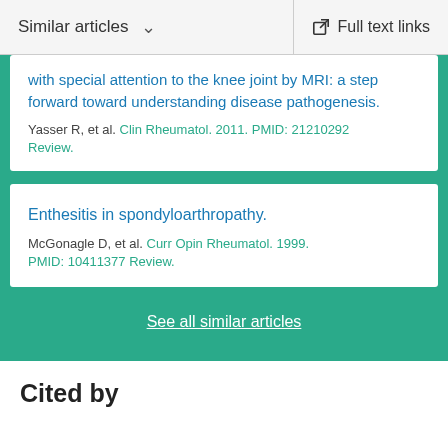Similar articles | Full text links
with special attention to the knee joint by MRI: a step forward toward understanding disease pathogenesis.
Yasser R, et al. Clin Rheumatol. 2011. PMID: 21210292
Review.
Enthesitis in spondyloarthropathy.
McGonagle D, et al. Curr Opin Rheumatol. 1999. PMID: 10411377 Review.
See all similar articles
Cited by